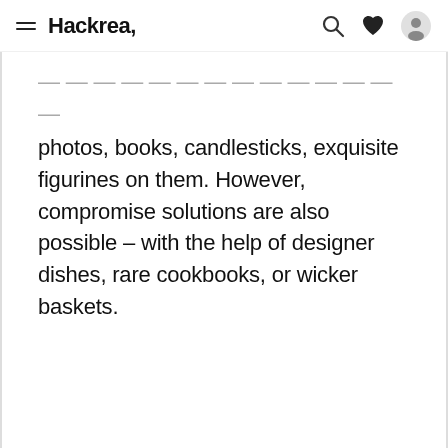Hackrea,
photos, books, candlesticks, exquisite figurines on them. However, compromise solutions are also possible – with the help of designer dishes, rare cookbooks, or wicker baskets.